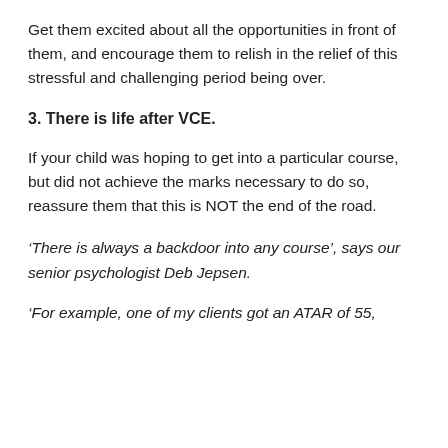Get them excited about all the opportunities in front of them, and encourage them to relish in the relief of this stressful and challenging period being over.
3. There is life after VCE.
If your child was hoping to get into a particular course, but did not achieve the marks necessary to do so, reassure them that this is NOT the end of the road.
‘There is always a backdoor into any course’, says our senior psychologist Deb Jepsen.
‘For example, one of my clients got an ATAR of 55,